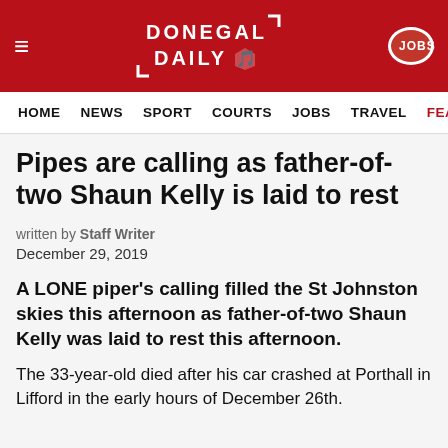DONEGAL DAILY
HOME  NEWS  SPORT  COURTS  JOBS  TRAVEL  FEAT…
Pipes are calling as father-of-two Shaun Kelly is laid to rest
written by Staff Writer
December 29, 2019
A LONE piper's calling filled the St Johnston skies this afternoon as father-of-two Shaun Kelly was laid to rest this afternoon.
The 33-year-old died after his car crashed at Porthall in Lifford in the early hours of December 26th.